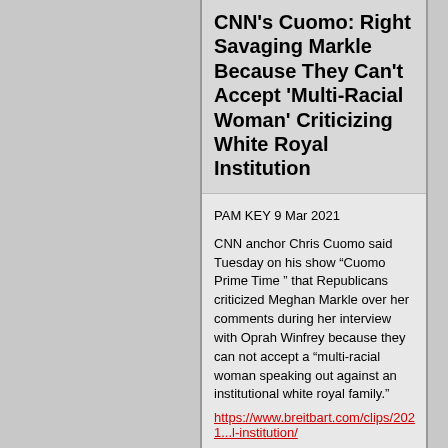CNN's Cuomo: Right Savaging Markle Because They Can't Accept 'Multi-Racial Woman' Criticizing White Royal Institution
PAM KEY 9 Mar 2021
CNN anchor Chris Cuomo said Tuesday on his show “Cuomo Prime Time ” that Republicans criticized Meghan Markle over her comments during her interview with Oprah Winfrey because they can not accept a “multi-racial woman speaking out against an institutional white royal family.”
https://www.breitbart.com/clips/2021...l-institution/